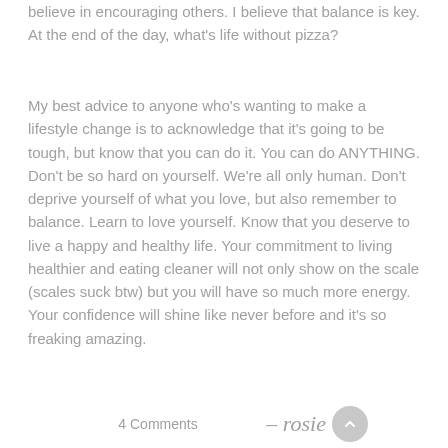believe in encouraging others. I believe that balance is key. At the end of the day, what's life without pizza?
My best advice to anyone who's wanting to make a lifestyle change is to acknowledge that it's going to be tough, but know that you can do it. You can do ANYTHING. Don't be so hard on yourself. We're all only human. Don't deprive yourself of what you love, but also remember to balance. Learn to love yourself. Know that you deserve to live a happy and healthy life. Your commitment to living healthier and eating cleaner will not only show on the scale (scales suck btw) but you will have so much more energy. Your confidence will shine like never before and it's so freaking amazing.
4 Comments
– rosie